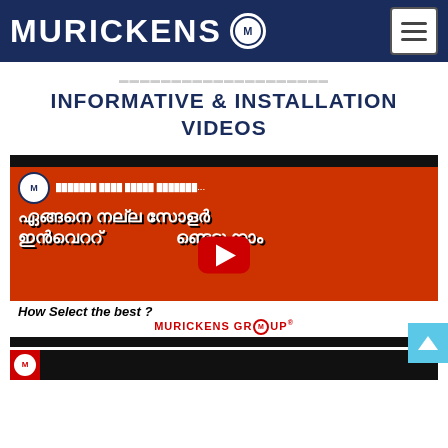MURICKENS
INFORMATIVE & INSTALLATION VIDEOS
[Figure (screenshot): YouTube video thumbnail with orange/red background showing Malayalam text and 'How Select the best ? MURICKENS GROUP' with a YouTube play button overlay]
[Figure (screenshot): Partial view of another video thumbnail at the bottom with dark/black background and Murickens logo]